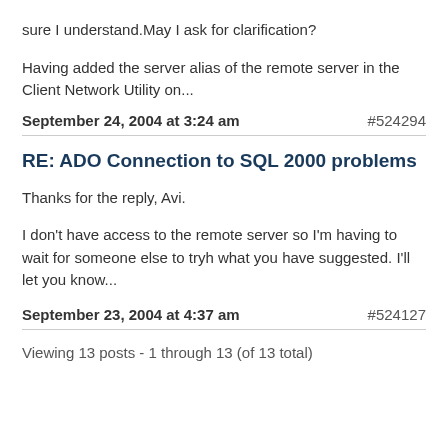sure I understand.May I ask for clarification?
Having added the server alias of the remote server in the Client Network Utility on...
September 24, 2004 at 3:24 am	#524294
RE: ADO Connection to SQL 2000 problems
Thanks for the reply, Avi.
I don't have access to the remote server so I'm having to wait for someone else to tryh what you have suggested. I'll let you know...
September 23, 2004 at 4:37 am	#524127
Viewing 13 posts - 1 through 13 (of 13 total)